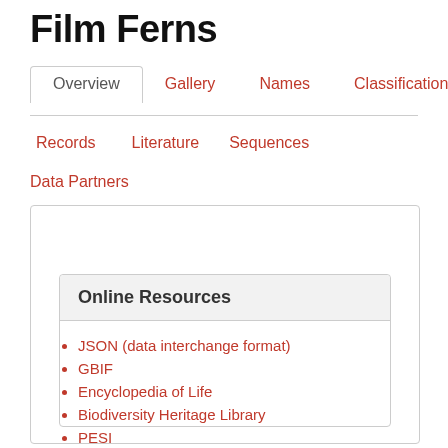Film Ferns
Overview
Gallery
Names
Classification
Records
Literature
Sequences
Data Partners
Online Resources
JSON (data interchange format)
GBIF
Encyclopedia of Life
Biodiversity Heritage Library
PESI
ARKive